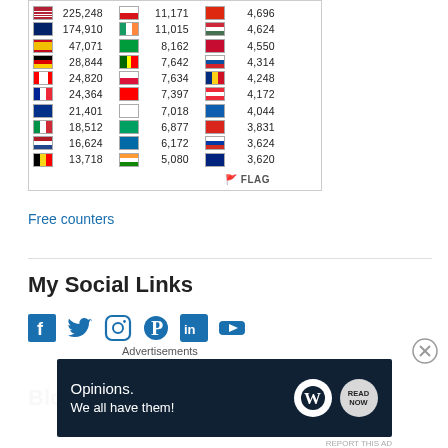[Figure (table-as-image): Flag counter widget showing country flags with visitor counts in three columns. Countries and counts: US 225,248 | CZ 11,171 | CN 4,696 | UK 174,910 | IE 11,015 | HU 4,624 | ES 47,071 | BR 8,162 | DK 4,550 | DE 28,844 | PT 7,642 | SK 4,314 | CA 24,820 | PL 7,634 | RO 4,248 | FR 24,364 | CH 7,397 | AT 4,172 | AU 21,401 | KR 7,018 | GR 4,044 | IT 18,512 | ZA 6,877 | VN 3,831 | NL 16,624 | SE 6,172 | RU 3,624 | BE 13,718 | IN 5,080 | NZ 3,620]
Free counters
My Social Links
[Figure (infographic): Social media icons row: Facebook, Twitter, Instagram, Pinterest, LinkedIn, YouTube - all in blue]
Blog Stats
Advertisements
[Figure (infographic): Advertisement banner: dark navy background with text 'Opinions. We all have them!' with WordPress and NOW logos on right side.]